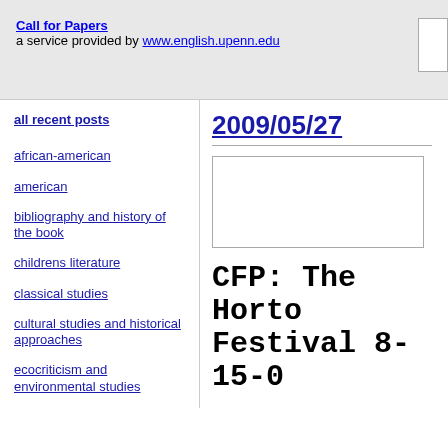Call for Papers — a service provided by www.english.upenn.edu
2009/05/27
[Figure (other): Search box widget, empty white rectangle]
CFP: The Horton Foote American Festival 8-15-0
full name / name of organization
Horton Foote American F
contact email:
all recent posts
african-american
american
bibliography and history of the book
childrens literature
classical studies
cultural studies and historical approaches
ecocriticism and environmental studies
eighteenth century